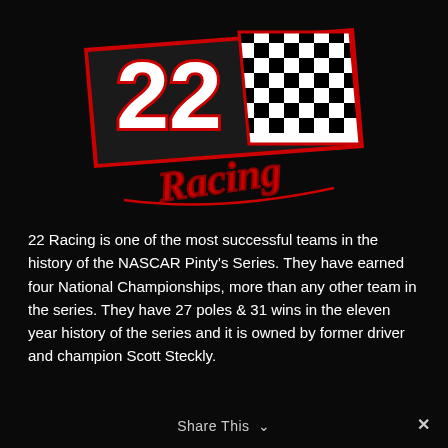[Figure (logo): 22 Racing team logo — large white '22' text with red outline on a diagonal banner background, checkered flag graphic on the right, and red italic 'Racing' script below]
22 Racing is one of the most successful teams in the history of the NASCAR Pinty's Series. They have earned four National Championships, more than any other team in the series. They have 27 poles & 31 wins in the eleven year history of the series and it is owned by former driver and champion Scott Steckly.
Share This ∨ ✕